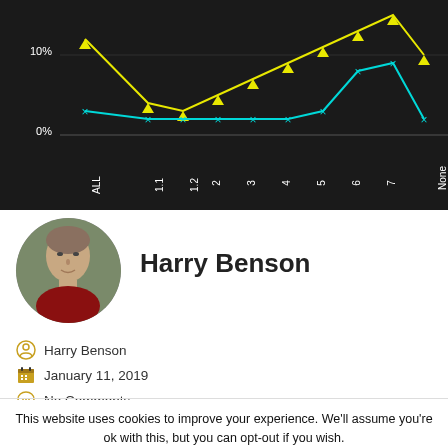[Figure (line-chart): Line chart with yellow and cyan series]
[Figure (photo): Circular profile photo of Harry Benson, a middle-aged man with short hair, wearing a red shirt, outdoors with green background]
Harry Benson
Harry Benson
January 11, 2019
No Comments
This website uses cookies to improve your experience. We'll assume you're ok with this, but you can opt-out if you wish.
Cookie settings
Privacy Policy
ACCEPT